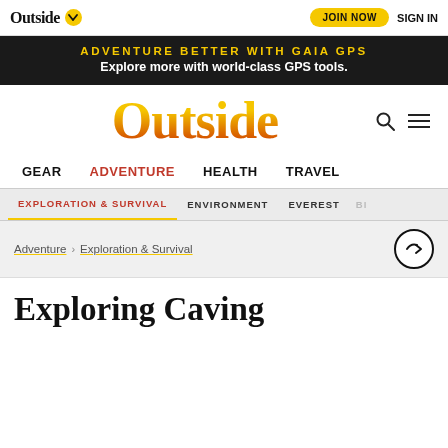Outside | JOIN NOW | SIGN IN
[Figure (screenshot): Outside magazine website header with black top nav bar showing Outside logo with yellow chevron badge, JOIN NOW yellow button, and SIGN IN text]
ADVENTURE BETTER WITH GAIA GPS
Explore more with world-class GPS tools.
[Figure (logo): Outside magazine main logo in gold/orange gradient serif font, with search icon and hamburger menu]
GEAR  ADVENTURE  HEALTH  TRAVEL
EXPLORATION & SURVIVAL  ENVIRONMENT  EVEREST  BI...
Adventure > Exploration & Survival
Exploring Caving